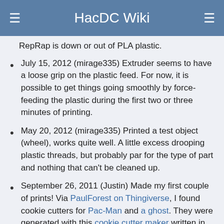HacDC Wiki
RepRap is down or out of PLA plastic.
July 15, 2012 (mirage335) Extruder seems to have a loose grip on the plastic feed. For now, it is possible to get things going smoothly by force-feeding the plastic during the first two or three minutes of printing.
May 20, 2012 (mirage335) Printed a test object (wheel), works quite well. A little excess drooping plastic threads, but probably par for the type of part and nothing that can't be cleaned up.
September 26, 2011 (Justin) Made my first couple of prints! Via PaulForest on Thingiverse, I found cookie cutters for Pac-Man and a ghost. They were generated with this cookie cutter maker written in Processing, so I tweaked the ghost a bit and printed